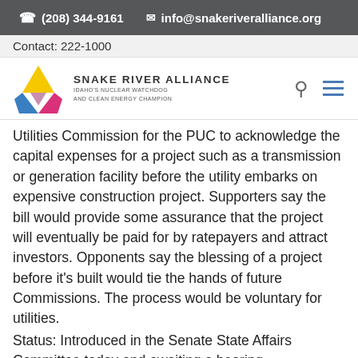(208) 344-9161   info@snakeriveralliance.org
Contact: 222-1000
[Figure (logo): Snake River Alliance logo with yellow, blue, and magenta triangular shield shapes, with text 'SNAKE RIVER ALLIANCE IDAHO'S NUCLEAR WATCHDOG AND CLEAN ENERGY CHAMPION']
Utilities Commission for the PUC to acknowledge the capital expenses for a project such as a transmission or generation facility before the utility embarks on expensive construction project. Supporters say the bill would provide some assurance that the project will eventually be paid for by ratepayers and attract investors. Opponents say the blessing of a project before it’s built would tie the hands of future Commissions. The process would be voluntary for utilities.
Status: Introduced in the Senate State Affairs Committee today and awaiting a hearing.